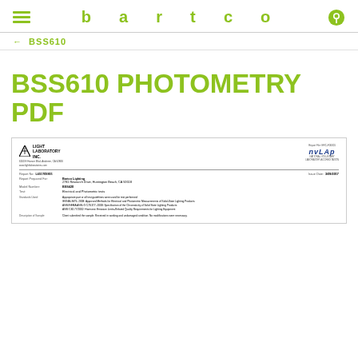bartco
← BSS610
BSS610 PHOTOMETRY PDF
[Figure (other): Scanned document preview showing Light Laboratory Inc. report cover page with NVLAP logo, report number L651705901, issue date 3/09/2017, prepared for Bartco Lighting at 2781 Research Drive, Huntington Beach CA 92618, model number BSS420, test: Electrical and Photometric tests, standards used and description of sample.]